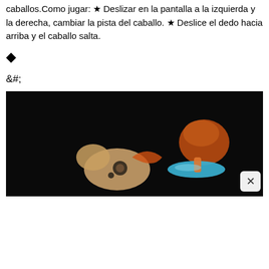caballos.Como jugar: ★ Deslizar en la pantalla a la izquierda y la derecha, cambiar la pista del caballo. ★ Deslice el dedo hacia arriba y el caballo salta.
◆
&#;
[Figure (photo): Dark background photo showing toy horse game pieces including a wooden horse shape and a colorful spinning top-like piece in blue and orange/red, with an X close button in the lower right corner.]